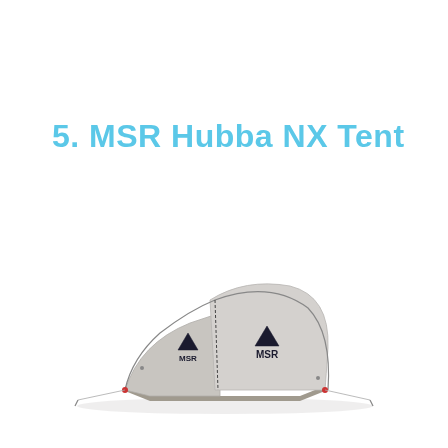5. MSR Hubba NX Tent
[Figure (photo): MSR Hubba NX Tent — a light grey single-person backpacking tent with dome shape, showing both the inner tent vestibule and main body. The MSR mountain logo and text appear on both sides of the outer shell. The tent footprint is visible on a white background.]